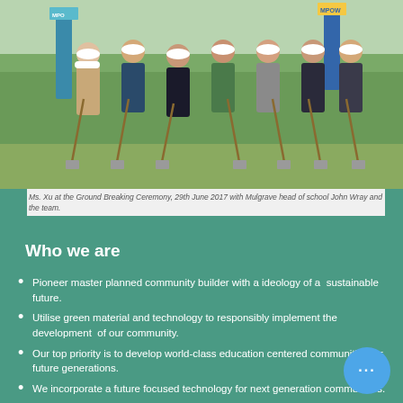[Figure (photo): Group of seven people wearing white hard hats holding shovels at a ground breaking ceremony outdoors with banners in background]
Ms. Xu at the Ground Breaking Ceremony, 29th June 2017 with Mulgrave head of school John Wray and the team.
Who we are
Pioneer master planned community builder with a ideology of a sustainable future.
Utilise green material and technology to responsibly implement the development of our community.
Our top priority is to develop world-class education centered communities for future generations.
We incorporate a future focused technology for next generation communities.